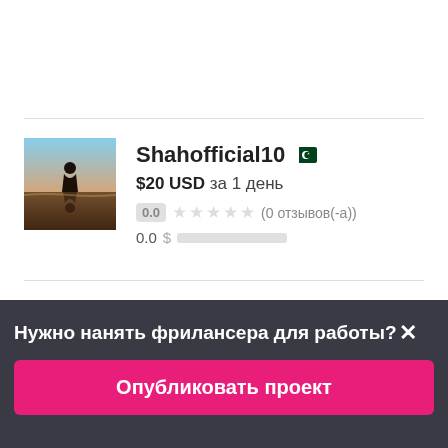[Figure (photo): Profile avatar photo of a silhouette reflected on water]
Shahofficial10 🇵🇰
$20 USD за 1 день
0.0 ★★★★★ (0 отзывов(-а))
0.0 $ ██████████
Хотите заработать немного денег?
Нужно нанять фрилансера для работы?✕
Опубликовать проект